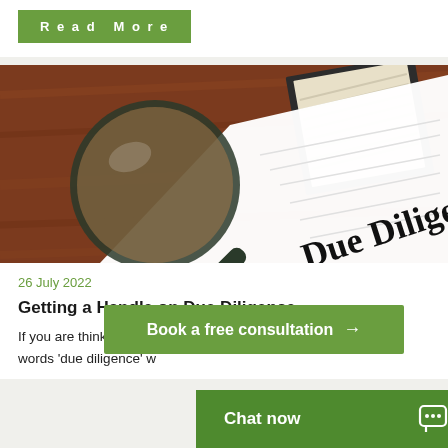Read More
[Figure (photo): A magnifying glass and a book on a wooden table next to a document labeled 'Due Diligence']
26 July 2022
Getting a Handle on Due Diligence
If you are thinking about buying or selling a business the words 'due diligence' w
Book a free consultation →
Chat now